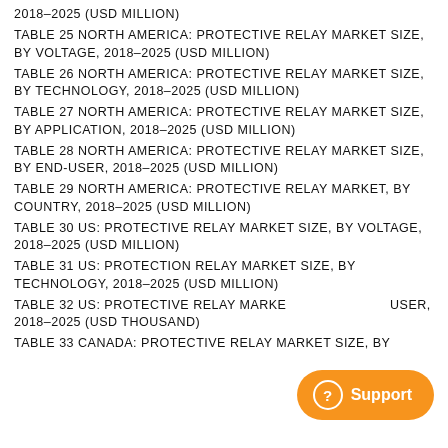2018–2025 (USD MILLION)
TABLE 25 NORTH AMERICA: PROTECTIVE RELAY MARKET SIZE, BY VOLTAGE, 2018–2025 (USD MILLION)
TABLE 26 NORTH AMERICA: PROTECTIVE RELAY MARKET SIZE, BY TECHNOLOGY, 2018–2025 (USD MILLION)
TABLE 27 NORTH AMERICA: PROTECTIVE RELAY MARKET SIZE, BY APPLICATION, 2018–2025 (USD MILLION)
TABLE 28 NORTH AMERICA: PROTECTIVE RELAY MARKET SIZE, BY END-USER, 2018–2025 (USD MILLION)
TABLE 29 NORTH AMERICA: PROTECTIVE RELAY MARKET, BY COUNTRY, 2018–2025 (USD MILLION)
TABLE 30 US: PROTECTIVE RELAY MARKET SIZE, BY VOLTAGE, 2018–2025 (USD MILLION)
TABLE 31 US: PROTECTION RELAY MARKET SIZE, BY TECHNOLOGY, 2018–2025 (USD MILLION)
TABLE 32 US: PROTECTIVE RELAY MARKET SIZE, BY END-USER, 2018–2025 (USD THOUSAND)
TABLE 33 CANADA: PROTECTIVE RELAY MARKET SIZE, BY